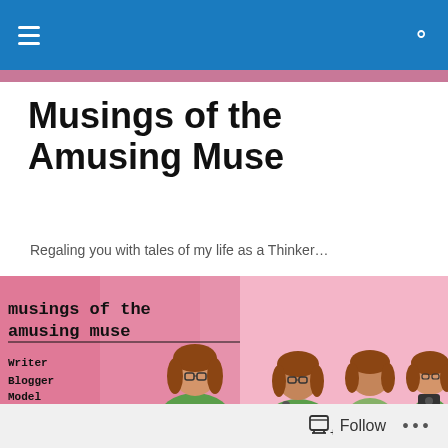Navigation bar with hamburger menu and search icon
Musings of the Amusing Muse
Regaling you with tales of my life as a Thinker…
[Figure (illustration): Blog banner image: pink background with cartoon illustration of four women with brown hair in green outfits. Text reads 'musings of the amusing muse' and 'Writer, Blogger, Model, Renaissance Woman'.]
Musings on…. Priorities
Priorities.
Follow  •••